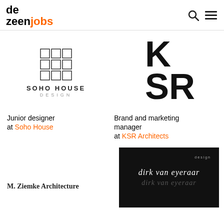de zeen jobs
[Figure (logo): Soho House Design logo with grid graphic and text]
[Figure (logo): KSR Architects logo with large bold letters K S R]
Junior designer at Soho House
Brand and marketing manager at KSR Architects
[Figure (logo): M. Ziemke Architecture text logo]
[Figure (logo): Dirk van Eyeraar design logo on black background with script text]